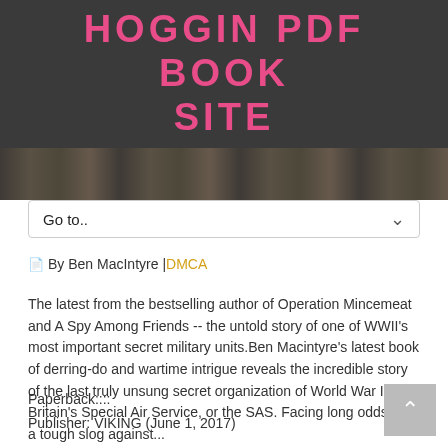HOGGIN PDF BOOK SITE
[Figure (photo): Partial book cover image strip showing title text in dark, grainy style]
Go to..
By Ben MacIntyre | DMCA
The latest from the bestselling author of Operation Mincemeat and A Spy Among Friends -- the untold story of one of WWII's most important secret military units.Ben Macintyre's latest book of derring-do and wartime intrigue reveals the incredible story of the last truly unsung secret organization of World War II – Britain's Special Air Service, or the SAS. Facing long odds and a tough slog against...
Paperback::::
Publisher: VIKING (June 1, 2017)